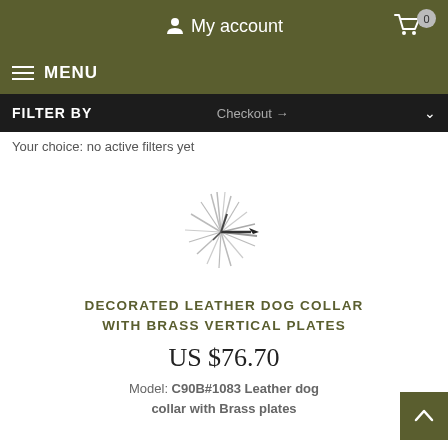My account
MENU  0
FILTER BY  Checkout →
Your choice: no active filters yet
[Figure (illustration): Loading spinner / starburst graphic — a spiky radial burst shape in light gray and black, resembling a loading indicator or cursor click icon]
DECORATED LEATHER DOG COLLAR WITH BRASS VERTICAL PLATES
US $76.70
Model: C90B#1083 Leather dog collar with Brass plates